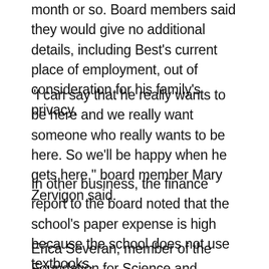month or so. Board members said they would give no additional details, including Best's current place of employment, out of consideration for his family's privacy.
“I can say that he really wants to be here and we really want someone who really wants to be here. So we’ll be happy when he gets here,” board member Mary Zervigon said.
In other business, the finance report to the board noted that the school’s paper expense is high because the school does not use textbooks.
Erica Severan, member of the Foundation for Science and Mathematics, the school’s fundraising